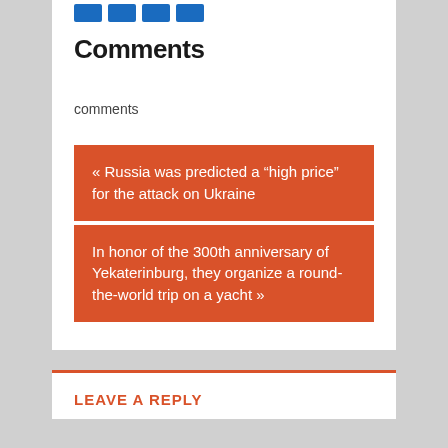Comments
comments
« Russia was predicted a “high price” for the attack on Ukraine
In honor of the 300th anniversary of Yekaterinburg, they organize a round-the-world trip on a yacht »
LEAVE A REPLY